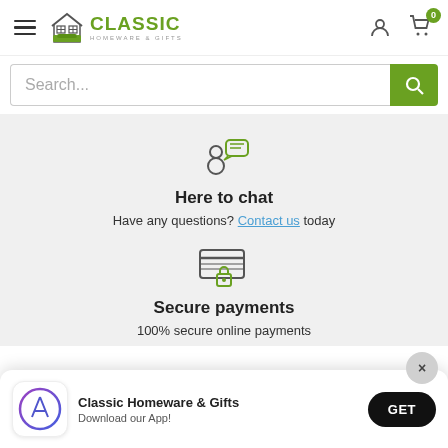Classic Homeware & Gifts - navigation header with hamburger menu, logo, user icon, and cart (0)
Search...
Here to chat
Have any questions? Contact us today
Secure payments
100% secure online payments
Classic Homeware & Gifts
Download our App!